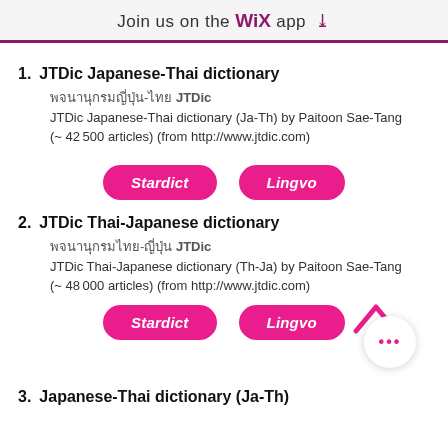Join us on the WiX app ⬇
1. JTDic Japanese-Thai dictionary
พจนานุกรมญี่ปุ่น-ไทย JTDic
JTDic Japanese-Thai dictionary (Ja-Th) by Paitoon Sae-Tang (~ 42 500 articles) (from http://www.jtdic.com)
[Figure (other): Two pink rounded button links labeled Stardict and Lingvo]
2. JTDic Thai-Japanese dictionary
พจนานุกรมไทย-ญี่ปุ่น JTDic
JTDic Thai-Japanese dictionary (Th-Ja) by Paitoon Sae-Tang (~ 48 000 articles) (from http://www.jtdic.com)
[Figure (other): Two pink rounded button links labeled Stardict and Lingvo, with up-arrow chevron icon and three-dots circle button]
3. Japanese-Thai dictionary (Ja-Th)